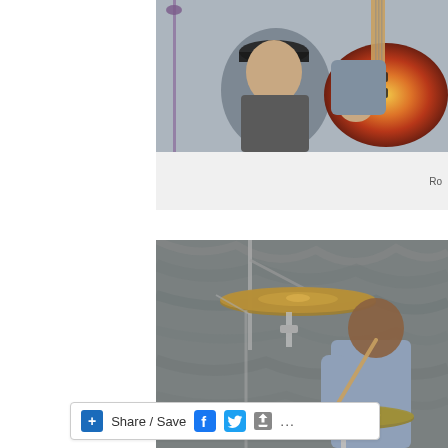[Figure (photo): Photo of a musician holding a sunburst electric guitar, with another person in a black cap in the foreground, at an outdoor event.]
Ro
[Figure (photo): Photo of a drummer playing a drum kit with cymbals, wearing a light blue shirt, at an outdoor event with a grey textured background.]
Share / Save